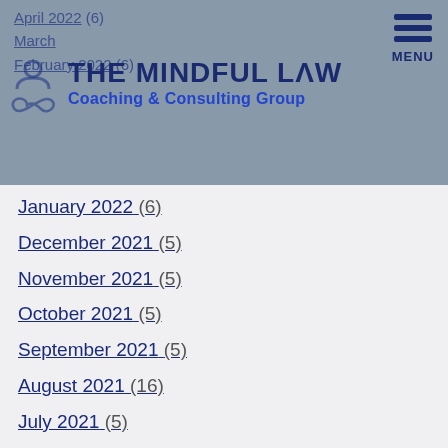THE MINDFUL LAW Coaching & Consulting Group
April 2022 (6)
March 2022
February 2022 (6)
January 2022 (6)
December 2021 (5)
November 2021 (5)
October 2021 (5)
September 2021 (5)
August 2021 (16)
July 2021 (5)
June 2021 (5)
May 2021 (5)
April 2021 (5)
March 2021 (5)